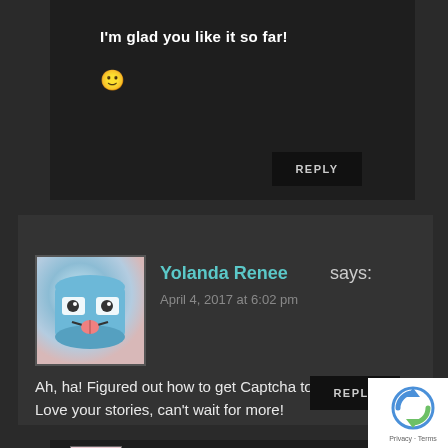I'm glad you like it so far! 🙂
REPLY
Yolanda Renee says:
April 4, 2017 at 6:02 pm
Ah, ha! Figured out how to get Captcha to work!
Love your stories, can't wait for more!
REPLY
Natalie says: